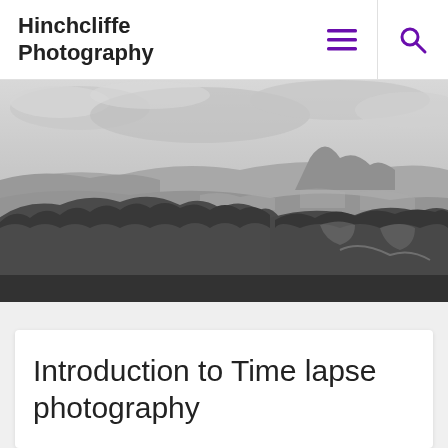Hinchcliffe Photography
[Figure (photo): Black and white panoramic landscape photograph showing rolling hills, dense woodland in the foreground, open moorland and a distinctive hill peak in the background under a cloudy sky.]
Introduction to Time lapse photography